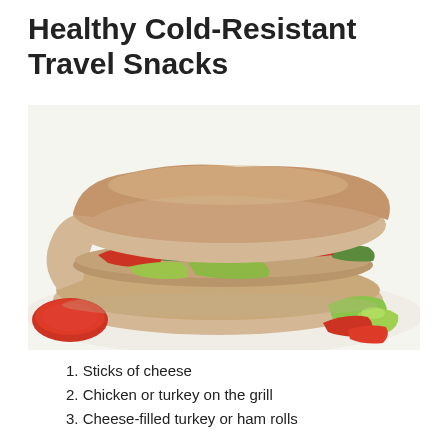Healthy Cold-Resistant Travel Snacks
[Figure (photo): Close-up photo of a layered sandwich/wrap filled with sliced tomatoes, green peppers, chicken/turkey, and avocado, placed on a white surface with tomato slices and apple/lime wedges around it.]
1. Sticks of cheese
2. Chicken or turkey on the grill
3. Cheese-filled turkey or ham rolls